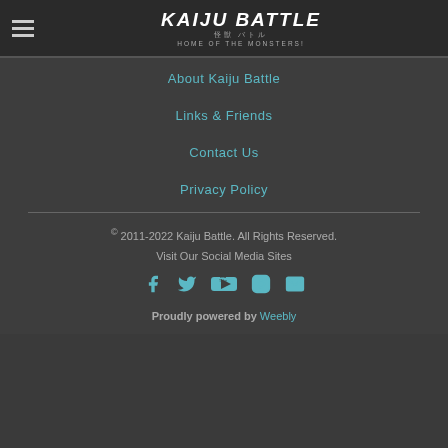Kaiju Battle 怪獣 バトル HOME OF THE MONSTERS!
About Kaiju Battle
Links & Friends
Contact Us
Privacy Policy
© 2011-2022 Kaiju Battle. All Rights Reserved.
Visit Our Social Media Sites
[Figure (infographic): Row of social media icons: Facebook, Twitter, YouTube, Instagram, Email]
Proudly powered by Weebly